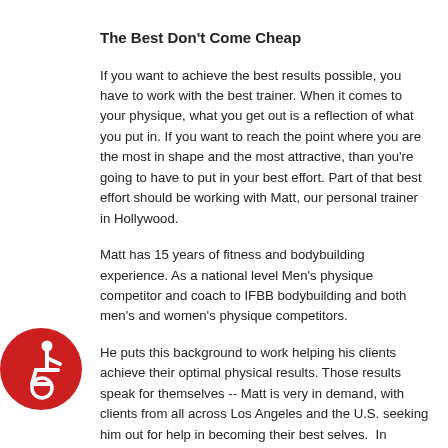The Best Don't Come Cheap
If you want to achieve the best results possible, you have to work with the best trainer. When it comes to your physique, what you get out is a reflection of what you put in. If you want to reach the point where you are the most in shape and the most attractive, than you're going to have to put in your best effort. Part of that best effort should be working with Matt, our personal trainer in Hollywood.
Matt has 15 years of fitness and bodybuilding experience. As a national level Men's physique competitor and coach to IFBB bodybuilding and both men's and women's physique competitors.
He puts this background to work helping his clients achieve their optimal physical results. Those results speak for themselves -- Matt is very in demand, with clients from all across Los Angeles and the U.S. seeking him out for help in becoming their best selves.  In addition to his strong results, Matt is sought after for his approach to lifestyle and nutrition. He understands that his clients are busy, with demanding jobs and families to attend to. As such, he focuses on efficiency -- what can
[Figure (logo): Red circular accessibility icon with white wheelchair user symbol]